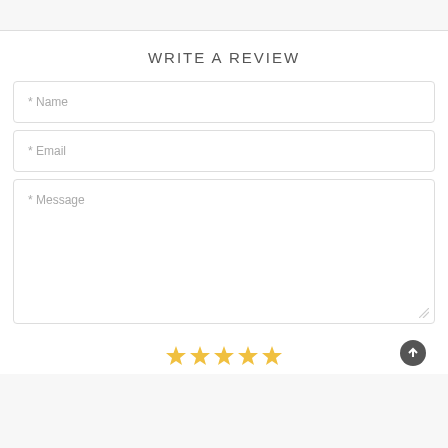WRITE A REVIEW
* Name
* Email
* Message
[Figure (illustration): Five gold star rating icons at the bottom of the review form]